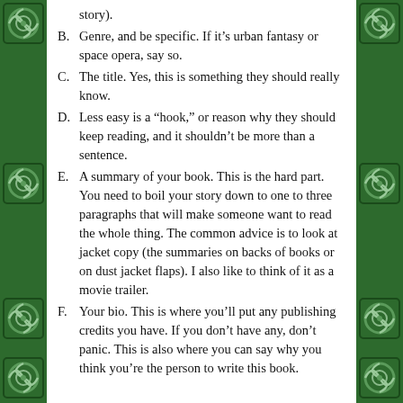story).
B. Genre, and be specific. If it’s urban fantasy or space opera, say so.
C. The title. Yes, this is something they should really know.
D. Less easy is a “hook,” or reason why they should keep reading, and it shouldn’t be more than a sentence.
E. A summary of your book. This is the hard part. You need to boil your story down to one to three paragraphs that will make someone want to read the whole thing. The common advice is to look at jacket copy (the summaries on backs of books or on dust jacket flaps). I also like to think of it as a movie trailer.
F. Your bio. This is where you’ll put any publishing credits you have. If you don’t have any, don’t panic. This is also where you can say why you think you’re the person to write this book.